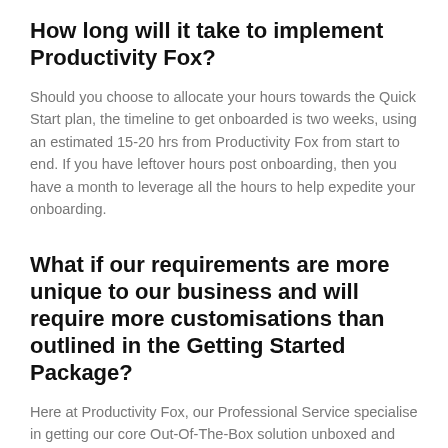How long will it take to implement Productivity Fox?
Should you choose to allocate your hours towards the Quick Start plan, the timeline to get onboarded is two weeks, using an estimated 15-20 hrs from Productivity Fox from start to end. If you have leftover hours post onboarding, then you have a month to leverage all the hours to help expedite your onboarding.
What if our requirements are more unique to our business and will require more customisations than outlined in the Getting Started Package?
Here at Productivity Fox, our Professional Service specialise in getting our core Out-Of-The-Box solution unboxed and set up as quickly as possible. With that